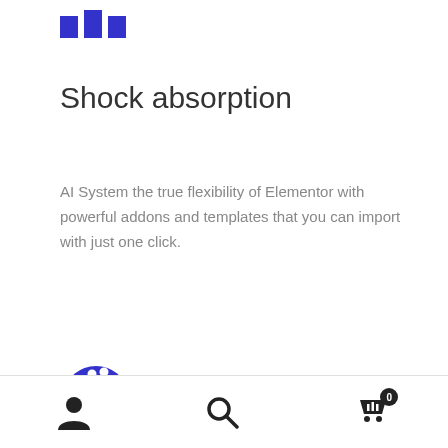[Figure (logo): Three blue vertical bars of varying heights forming a logo/icon]
Shock absorption
AI System the true flexibility of Elementor with powerful addons and templates that you can import with just one click.
[Figure (illustration): Blue painter's palette icon with white dots]
User icon, Search icon, Cart icon with badge 0